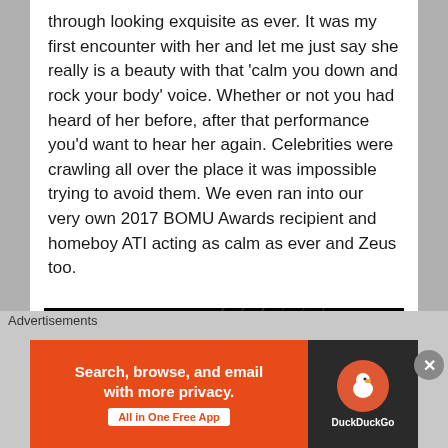through looking exquisite as ever. It was my first encounter with her and let me just say she really is a beauty with that 'calm you down and rock your body' voice. Whether or not you had heard of her before, after that performance you'd want to hear her again. Celebrities were crawling all over the place it was impossible trying to avoid them. We even ran into our very own 2017 BOMU Awards recipient and homeboy ATI acting as calm as ever and Zeus too.
[Figure (photo): Dark concert/stage photo at night showing stage rigging and lighting equipment against a black background, with some blue stage lights visible at the bottom right]
Advertisements
[Figure (other): DuckDuckGo advertisement banner with orange background on left side reading 'Search, browse, and email with more privacy. All in One Free App' and dark panel on right showing DuckDuckGo logo and name]